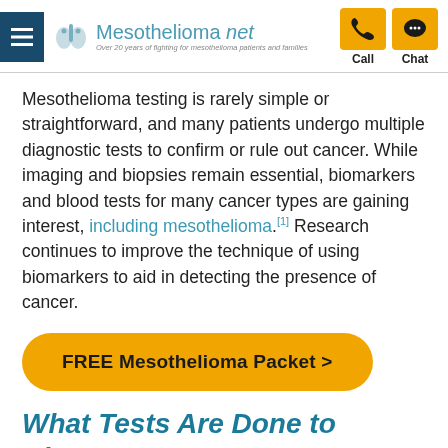Mesothelioma.net — Over 20 years of fighting for mesothelioma patients and families | Call | Chat
Mesothelioma testing is rarely simple or straightforward, and many patients undergo multiple diagnostic tests to confirm or rule out cancer. While imaging and biopsies remain essential, biomarkers and blood tests for many cancer types are gaining interest, including mesothelioma.[1] Research continues to improve the technique of using biomarkers to aid in detecting the presence of cancer.
FREE Mesothelioma Packet >
What Tests Are Done to Diagnose